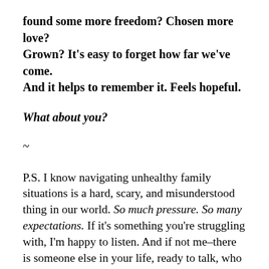found some more freedom? Chosen more love? Grown? It’s easy to forget how far we’ve come. And it helps to remember it. Feels hopeful.
What about you?
~
P.S. I know navigating unhealthy family situations is a hard, scary, and misunderstood thing in our world. So much pressure. So many expectations. If it’s something you’re struggling with, I’m happy to listen. And if not me–there is someone else in your life, ready to talk, who has had to step out into freedom. Say your stuff, no matter how messy. Find your freedom